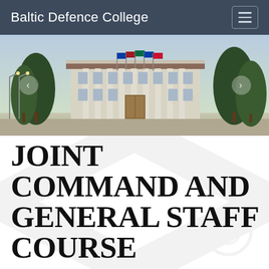Baltic Defence College
[Figure (photo): Exterior photo of the Baltic Defence College building with flags, trees, and a large classical facade]
JOINT COMMAND AND GENERAL STAFF COURSE
The aim of the Joint Command and General Staff Course (JGCSC) is to provide professional military education, focused on the operational level to